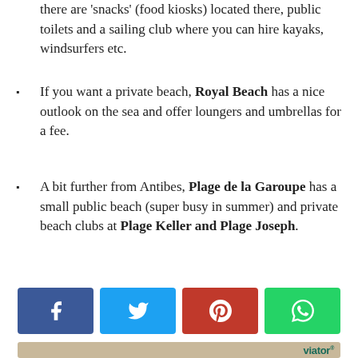there are 'snacks' (food kiosks) located there, public toilets and a sailing club where you can hire kayaks, windsurfers etc.
If you want a private beach, Royal Beach has a nice outlook on the sea and offer loungers and umbrellas for a fee.
A bit further from Antibes, Plage de la Garoupe has a small public beach (super busy in summer) and private beach clubs at Plage Keller and Plage Joseph.
[Figure (infographic): Social media share buttons: Facebook (blue), Twitter (light blue), Pinterest (red), WhatsApp (green)]
[Figure (photo): Viator advertisement showing the Golden Gate Bridge with people in foreground, and the Viator logo with 'A Tripadvisor company' tagline]